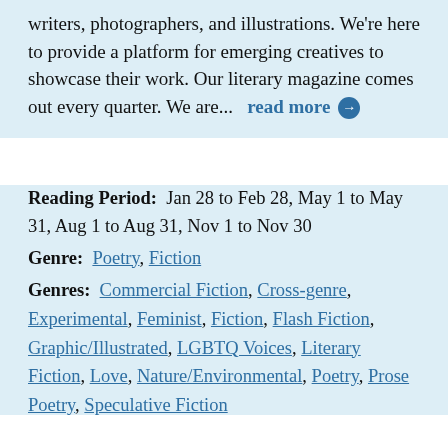writers, photographers, and illustrations. We're here to provide a platform for emerging creatives to showcase their work. Our literary magazine comes out every quarter. We are...  read more →
Reading Period:  Jan 28 to Feb 28, May 1 to May 31, Aug 1 to Aug 31, Nov 1 to Nov 30
Genre:  Poetry, Fiction
Genres:  Commercial Fiction, Cross-genre, Experimental, Feminist, Fiction, Flash Fiction, Graphic/Illustrated, LGBTQ Voices, Literary Fiction, Love, Nature/Environmental, Poetry, Prose Poetry, Speculative Fiction